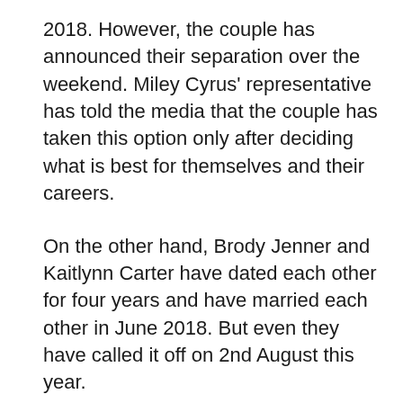2018. However, the couple has announced their separation over the weekend. Miley Cyrus' representative has told the media that the couple has taken this option only after deciding what is best for themselves and their careers.
On the other hand, Brody Jenner and Kaitlynn Carter have dated each other for four years and have married each other in June 2018. But even they have called it off on 2nd August this year.